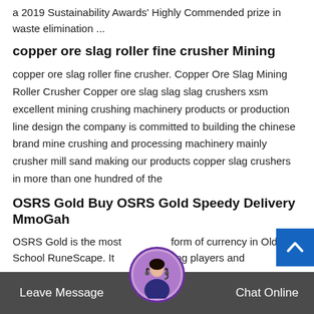a 2019 Sustainability Awards' Highly Commended prize in waste elimination ...
copper ore slag roller fine crusher Mining
copper ore slag roller fine crusher. Copper Ore Slag Mining Roller Crusher Copper ore slag slag slag crushers xsm excellent mining crushing machinery products or production line design the company is committed to building the chinese brand mine crushing and processing machinery mainly crusher mill sand making our products copper slag crushers in more than one hundred of the
OSRS Gold Buy OSRS Gold Speedy Delivery MmoGah
OSRS Gold is the most form of currency in Old School RuneScape. It used among players and
Leave Message   Chat Online